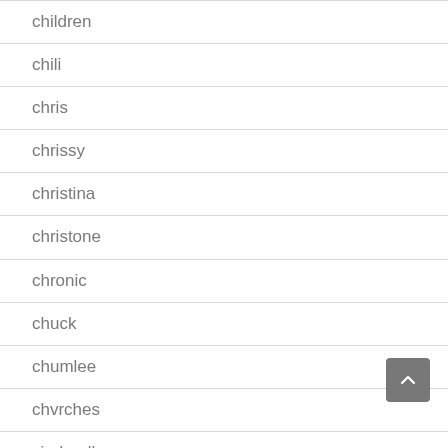children
chili
chris
chrissy
christina
christone
chronic
chuck
chumlee
chvrches
cinderella